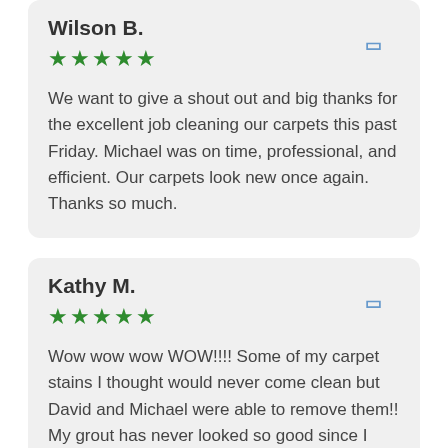Wilson B.
★★★★★
We want to give a shout out and big thanks for the excellent job cleaning our carpets this past Friday. Michael was on time, professional, and efficient. Our carpets look new once again. Thanks so much.
Kathy M.
★★★★★
Wow wow wow WOW!!!! Some of my carpet stains I thought would never come clean but David and Michael were able to remove them!! My grout has never looked so good since I have moved in and my leather looks